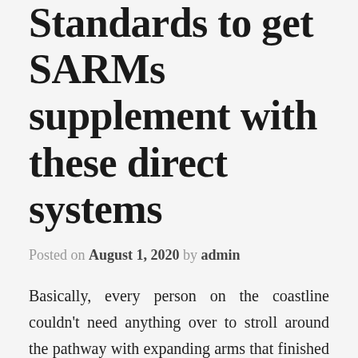Standards to get SARMs supplement with these direct systems
Posted on August 1, 2020 by admin
Basically, every person on the coastline couldn't need anything over to stroll around the pathway with expanding arms that finished off his sleeves and tore thighs that made